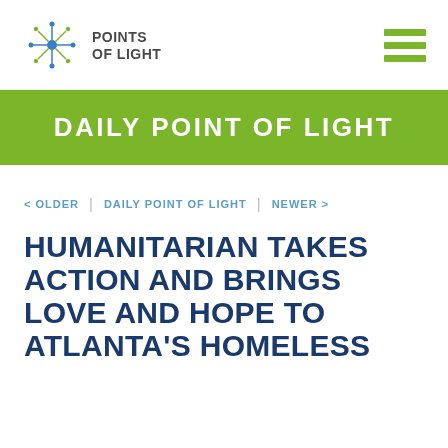POINTS OF LIGHT
DAILY POINT OF LIGHT
< OLDER | DAILY POINT OF LIGHT | NEWER >
HUMANITARIAN TAKES ACTION AND BRINGS LOVE AND HOPE TO ATLANTA'S HOMELESS